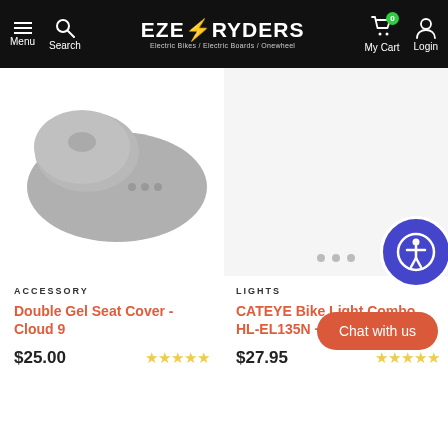Eze Ryders - Electric Bikes / Electric Boards / Onewheel - Menu, Search, My Cart, Login
[Figure (photo): Gray bicycle gel seat cover product photo on white background]
[Figure (photo): Empty product image area for CATEYE Bike Light on gray background]
ACCESSORY
Double Gel Seat Cover - Cloud 9
$25.00
LIGHTS
CATEYE Bike Light Combo HL-EL135N + ORB SL-LD16...
$27.95
Chat with us